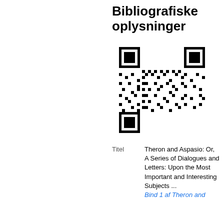Bibliografiske oplysninger
[Figure (other): QR code image linking to bibliographic information]
| Titel | Theron and Aspasio: Or, A Series of Dialogues and Letters: Upon the Most Important and Interesting Subjects ... |
|  | Bind 1 af Theron and |